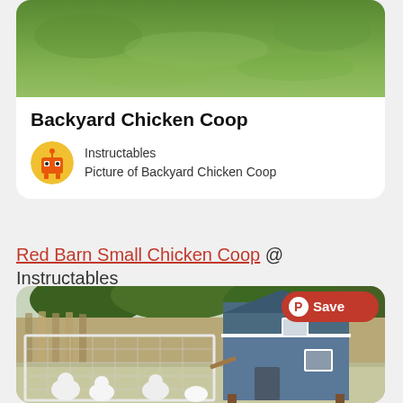[Figure (photo): Top portion of a backyard chicken coop photo showing green grass lawn]
Backyard Chicken Coop
[Figure (logo): Instructables robot logo avatar - yellow/orange circular icon]
Instructables
Picture of Backyard Chicken Coop
Red Barn Small Chicken Coop @ Instructables
[Figure (photo): Red barn small chicken coop with blue painted barn-style structure and white wire mesh run enclosure, white chickens inside, backyard setting with fence and trees. Pinterest Save button overlay in top right.]